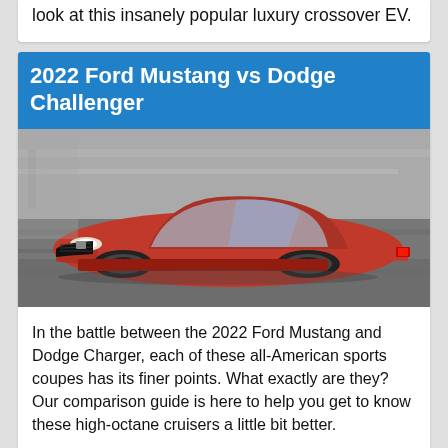look at this insanely popular luxury crossover EV.
2022 Ford Mustang vs Dodge Challenger
[Figure (photo): Red 2022 Ford Mustang GT sports coupe photographed from a front three-quarter angle while in motion on a blurred road background]
In the battle between the 2022 Ford Mustang and Dodge Charger, each of these all-American sports coupes has its finer points. What exactly are they? Our comparison guide is here to help you get to know these high-octane cruisers a little bit better.